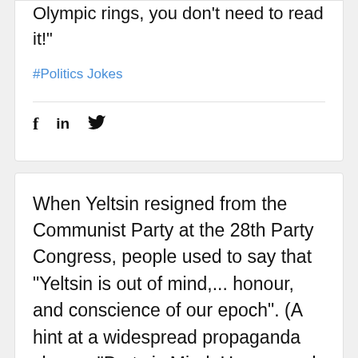Olympic rings, you don't need to read it!"
#Politics Jokes
f  in  🐦
When Yeltsin resigned from the Communist Party at the 28th Party Congress, people used to say that "Yeltsin is out of mind,... honour, and conscience of our epoch". (A hint at a widespread propaganda slogan: "Party is Mind, Honour and Conscience of our